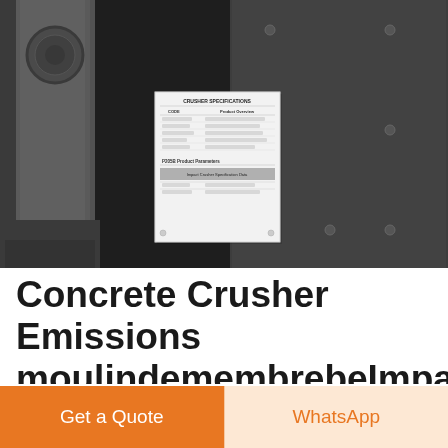[Figure (photo): Photograph of a concrete crusher / impact crusher machine. A white placard/label is mounted on the dark grey metal body of the machine. The placard contains text about the crusher product specifications including 'CRUSHER SPECIFICATIONS', 'CODE', 'Product Overview' headers and rows, along with a highlighted section. The machine shows industrial heavy equipment with bolts and metal panels.]
Concrete Crusher Emissions moulindemembrebeImpact crusher Impact breaker Mobile impact crusher
Get a Quote
WhatsApp